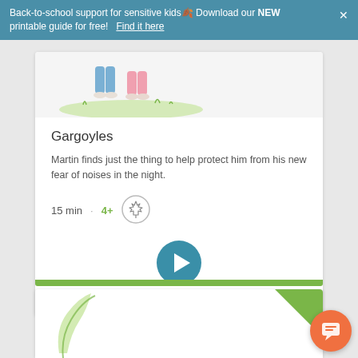Back-to-school support for sensitive kids! Download our NEW printable guide for free!  Find it here
[Figure (illustration): Children standing on grass - partial illustration, showing legs and feet]
Gargoyles
Martin finds just the thing to help protect him from his new fear of noises in the night.
15 min  ·  4+
[Figure (illustration): Maple leaf badge icon in a circle]
[Figure (illustration): Play button (teal circle with white triangle)]
[Figure (illustration): Second card partially visible at bottom with green corner decoration and orange chat bubble icon]